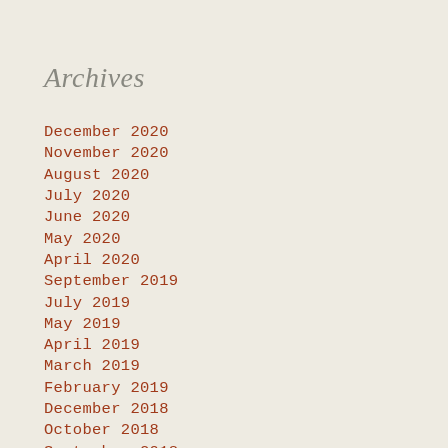Archives
December 2020
November 2020
August 2020
July 2020
June 2020
May 2020
April 2020
September 2019
July 2019
May 2019
April 2019
March 2019
February 2019
December 2018
October 2018
September 2018
August 2018
July 2018
June 2018
May 2018
April 2018